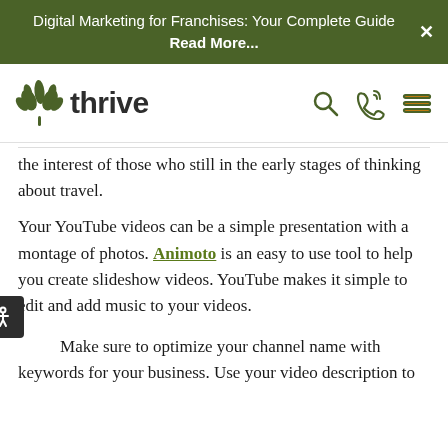Digital Marketing for Franchises: Your Complete Guide Read More...
[Figure (logo): Thrive Internet Marketing Agency logo with green leaf icon and 'thrive' wordmark, plus navigation icons (search, phone, hamburger menu)]
...the interest of those who still in the early stages of thinking about travel.
Your YouTube videos can be a simple presentation with a montage of photos. Animoto is an easy to use tool to help you create slideshow videos. YouTube makes it simple to edit and add music to your videos.
Make sure to optimize your channel name with keywords for your business. Use your video description to